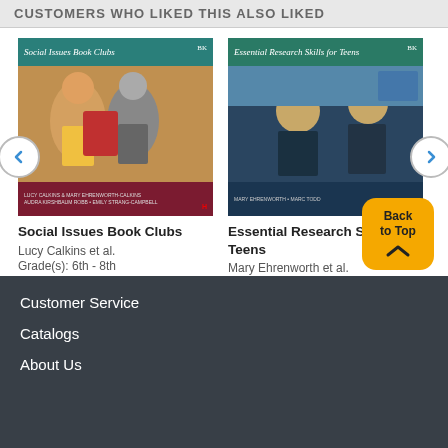CUSTOMERS WHO LIKED THIS ALSO LIKED
[Figure (illustration): Book cover: Social Issues Book Clubs by Lucy Calkins et al., dark red and teal cover with children reading]
Social Issues Book Clubs
Lucy Calkins et al.
Grade(s): 6th - 8th
[Figure (illustration): Book cover: Essential Research Skills for Teens by Mary Ehrenworth et al., dark blue and teal cover with teens studying]
Essential Research Skills for Teens
Mary Ehrenworth et al.
Grade(s): 7th - 9th
Customer Service
Catalogs
About Us